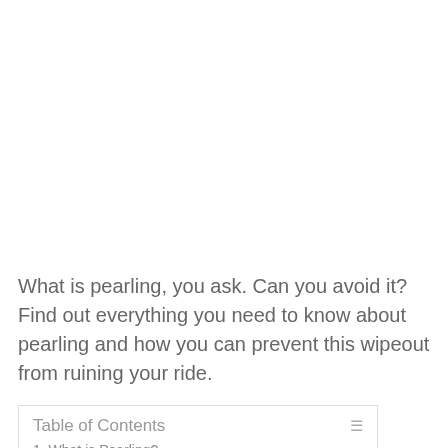What is pearling, you ask. Can you avoid it? Find out everything you need to know about pearling and how you can prevent this wipeout from ruining your ride.
Table of Contents